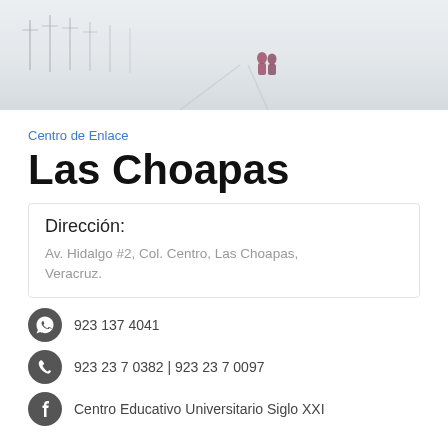[Figure (photo): Misty outdoor scene with people standing in a hazy landscape with tall structures in the background]
Centro de Enlace
Las Choapas
Dirección:
Av. Hidalgo #2, Col. Centro, Las Choapas, Veracruz.
923 137 4041
923 23 7 0382 | 923 23 7 0097
Centro Educativo Universitario Siglo XXI